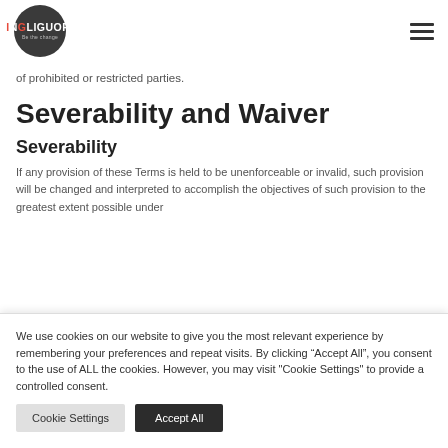INGLIGUORI — Be the change (logo) + hamburger menu
of prohibited or restricted parties.
Severability and Waiver
Severability
If any provision of these Terms is held to be unenforceable or invalid, such provision will be changed and interpreted to accomplish the objectives of such provision to the greatest extent possible under
We use cookies on our website to give you the most relevant experience by remembering your preferences and repeat visits. By clicking “Accept All”, you consent to the use of ALL the cookies. However, you may visit "Cookie Settings" to provide a controlled consent.